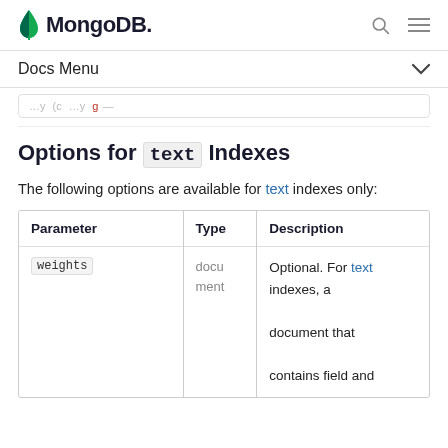MongoDB
Docs Menu
(truncated breadcrumb navigation)
Options for text Indexes
The following options are available for text indexes only:
| Parameter | Type | Description |
| --- | --- | --- |
| weights | document | Optional. For text indexes, a document that contains field and |